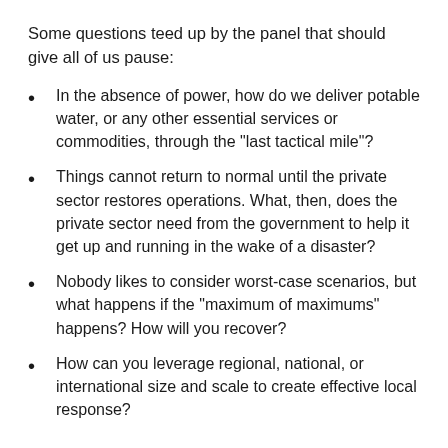Some questions teed up by the panel that should give all of us pause:
In the absence of power, how do we deliver potable water, or any other essential services or commodities, through the "last tactical mile"?
Things cannot return to normal until the private sector restores operations. What, then, does the private sector need from the government to help it get up and running in the wake of a disaster?
Nobody likes to consider worst-case scenarios, but what happens if the "maximum of maximums" happens? How will you recover?
How can you leverage regional, national, or international size and scale to create effective local response?